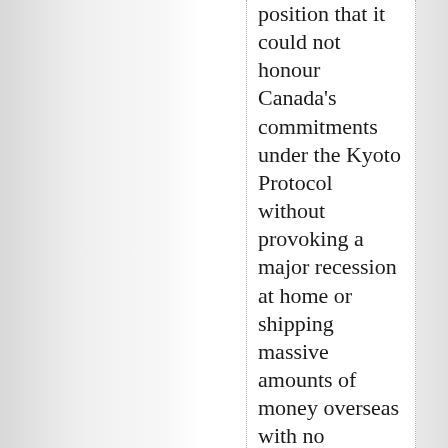position that it could not honour Canada's commitments under the Kyoto Protocol without provoking a major recession at home or shipping massive amounts of money overseas with no guarantees of positive results.
"We don't have